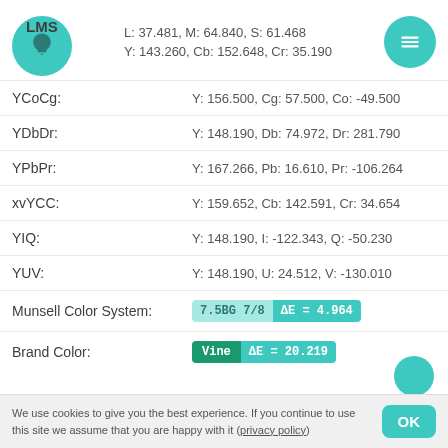LMS
L: 37.481, M: 64.840, S: 61.468
YCbCr:
Y: 143.260, Cb: 152.648, Cr: 35.190
YCoCg:
Y: 156.500, Cg: 57.500, Co: -49.500
YDbDr:
Y: 148.190, Db: 74.972, Dr: 281.790
YPbPr:
Y: 167.266, Pb: 16.610, Pr: -106.264
xvYCC:
Y: 159.652, Cb: 142.591, Cr: 34.654
YIQ:
Y: 148.190, I: -122.343, Q: -50.230
YUV:
Y: 148.190, U: 24.512, V: -130.010
Munsell Color System:
7.5BG 7/8  ΔE = 4.964
Brand Color:
Vine  ΔE = 20.219
We use cookies to give you the best experience. If you continue to use this site we assume that you are happy with it (privacy policy)